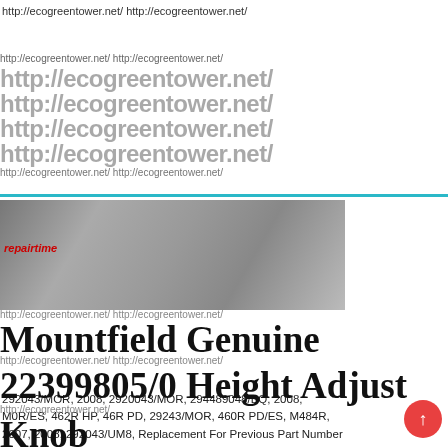http://ecogreentower.net/ http://ecogreentower.net/
http://ecogreentower.net/ http://ecogreentower.net/ http://ecogreentower.net/ http://ecogreentower.net/ http://ecogreentower.net/ http://ecogreentower.net/ http://ecogreentower.net/ http://ecogreentower.net/ http://ecogreentower.net/ http://ecogreentower.net/ http://ecogreentower.net/ http://ecogreentower.net/ http://ecogreentower.net/ http://ecogreentower.net/ http://ecogreentower.net/ http://ecogreentower.net/
[Figure (photo): Dark grayscale photo overlay with repairtime label, partially obscuring watermark text behind it]
Mountfield Genuine 22399805/0 Height Adjust Knob
292043/MOR, 2008, 2920043/MOR, 294489048/BQ, 2008, M0R/ES, 462R HP, 46R PD, 29243/MOR, 460R PD/ES, M484R, 2007, 2008, 292043/UM8, Replacement For Previous Part Number